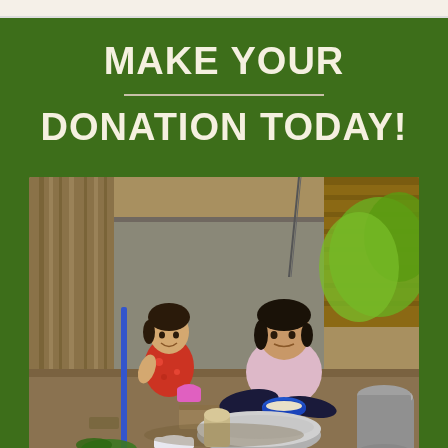MAKE YOUR DONATION TODAY!
[Figure (photo): Two young children sitting outdoors near a rustic wooden structure, surrounded by cooking pots, bowls, and kitchen utensils on the ground. One child in a red patterned top is smiling, the other in a light pink top is sitting cross-legged holding a blue bowl. Various metal and plastic bowls are visible in the foreground.]